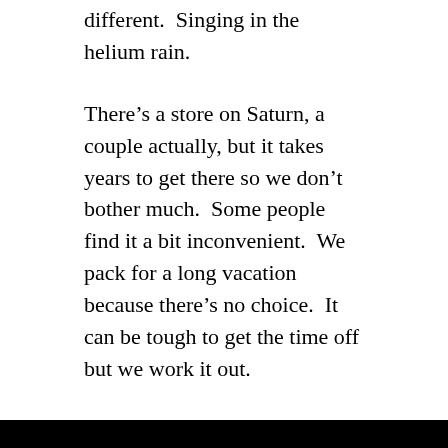different.  Singing in the helium rain.
There's a store on Saturn, a couple actually, but it takes years to get there so we don't bother much.  Some people find it a bit inconvenient.  We pack for a long vacation because there's no choice.  It can be tough to get the time off but we work it out.
We wouldn't dream of selling Saturn.  Even if we wanted to buyers can be hard to find.  A lot of people don't like the commute and it's true, ferry rates have gone way up the last few years.  Some people talk about building a bridge but that'll never happen.  It'd be too expensive.